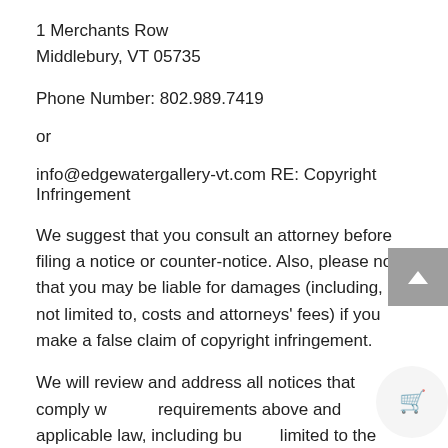1 Merchants Row
Middlebury, VT 05735
Phone Number: 802.989.7419
or
info@edgewatergallery-vt.com RE: Copyright Infringement
We suggest that you consult an attorney before filing a notice or counter-notice. Also, please note that you may be liable for damages (including, but not limited to, costs and attorneys' fees) if you make a false claim of copyright infringement.
We will review and address all notices that comply with the requirements above and applicable law, including but not limited to the Digital Millennium Copyright Act of 1998.